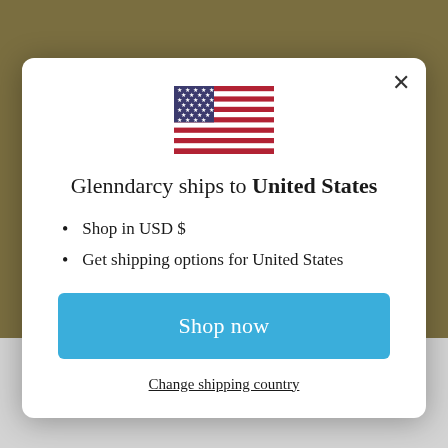[Figure (illustration): US flag emoji/icon centered at top of modal]
Glenndarcy ships to United States
Shop in USD $
Get shipping options for United States
Shop now
Change shipping country
be positioned sideways, nose to tail, or both directions for maximum coverage. Through trial and error find the solution that works best for your dog.